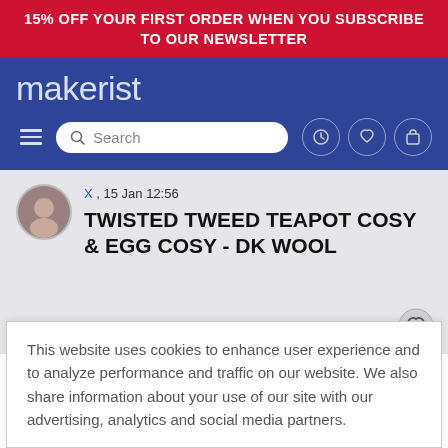15% OFF YOUR FIRST ORDER WHEN YOU SUBSCRIBE TO OUR NEWSLETTER
[Figure (screenshot): Makerist website header with logo, hamburger menu, search bar and navigation icons on blue background]
X , 15 Jan 12:56
TWISTED TWEED TEAPOT COSY & EGG COSY - DK WOOL
This website uses cookies to enhance user experience and to analyze performance and traffic on our website. We also share information about your use of our site with our advertising, analytics and social media partners.